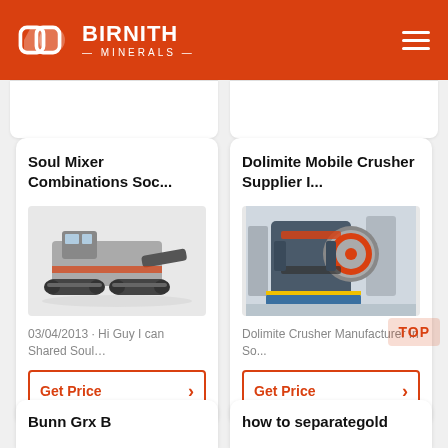BIRNITH MINERALS
[Figure (screenshot): Birnith Minerals website screenshot showing two product cards: Soul Mixer Combinations Soc... and Dolimite Mobile Crusher Supplier I...]
Soul Mixer Combinations Soc...
[Figure (photo): Mobile crusher/mixer machine on tracks, grey and orange, on white background]
03/04/2013 · Hi Guy I can Shared Soul…
Dolimite Mobile Crusher Supplier I...
[Figure (photo): Jaw crusher machine, blue and grey, in industrial facility]
Dolimite Crusher Manufacturer In So...
Bunn Grx B
how to separategold